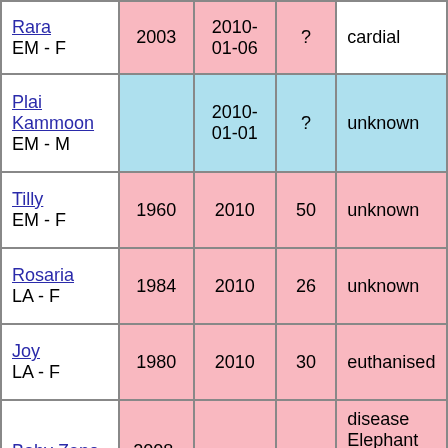| Name | Born | Died | Age | Cause |
| --- | --- | --- | --- | --- |
| Rara
EM - F | 2003 | 2010-01-06 | ? | cardial |
| Plai Kammoon
EM - M |  | 2010-01-01 | ? | unknown |
| Tilly
EM - F | 1960 | 2010 | 50 | unknown |
| Rosaria
LA - F | 1984 | 2010 | 26 | unknown |
| Joy
LA - F | 1980 | 2010 | 30 | euthanised |
| Baby Zeno
EM - F | 2008-09-24 | 2010 | 2 | disease Elephant endotheliotropic herpes virus? |
| Tikka
LA - F | 1980 | 2010 | 30 | unknown |